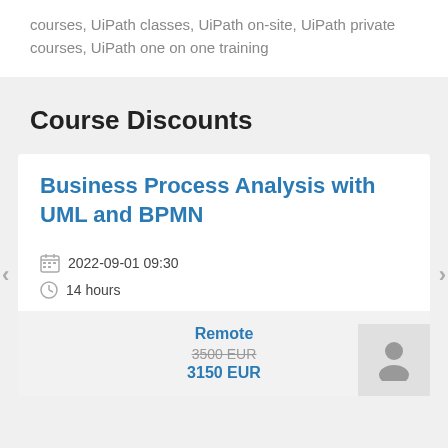courses, UiPath classes, UiPath on-site, UiPath private courses, UiPath one on one training
Course Discounts
Business Process Analysis with UML and BPMN
2022-09-01 09:30
14 hours
Remote
3500 EUR
3150 EUR